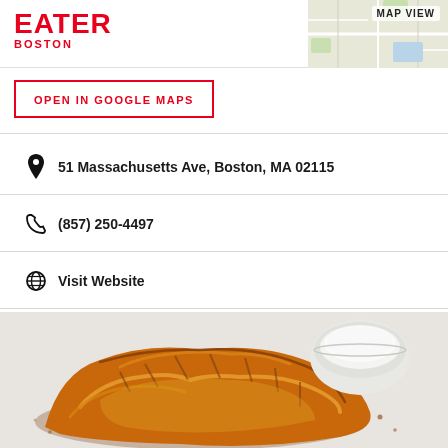EATER BOSTON
MAP VIEW
OPEN IN GOOGLE MAPS
51 Massachusetts Ave, Boston, MA 02115
(857) 250-4497
Visit Website
[Figure (photo): Photo of a golden-brown baked pastry/empanada served with a white dipping sauce in a small ceramic bowl, on a white surface.]